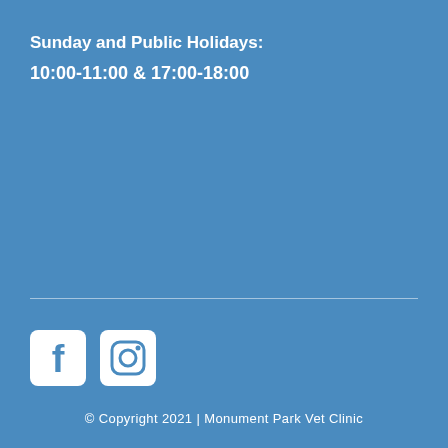Sunday and Public Holidays:
10:00-11:00 & 17:00-18:00
[Figure (logo): Facebook and Instagram social media icons]
© Copyright 2021 | Monument Park Vet Clinic